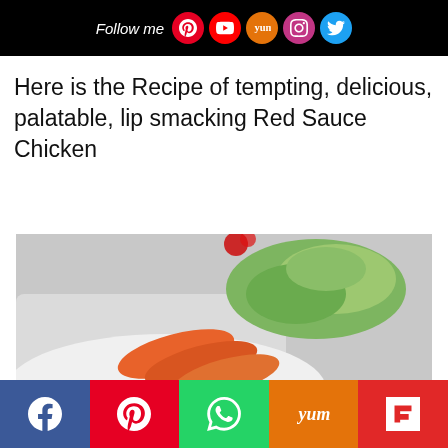Follow me [social icons: Pinterest, YouTube, Yummly, Instagram, Twitter]
Here is the Recipe of tempting, delicious, palatable, lip smacking Red Sauce Chicken
[Figure (photo): Red Sauce Chicken dish on a white plate with sliced carrots and greens, with watermark www.zulekhaskitchen.com]
Social share buttons: Facebook, Pinterest, WhatsApp, Yummly, Flipboard